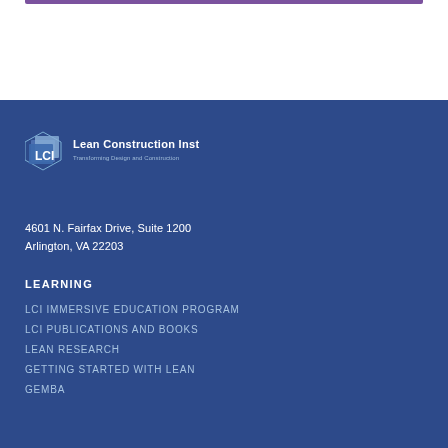[Figure (logo): Lean Construction Institute logo with diamond/square icon and text 'Lean Construction Institute, Transforming Design and Construction']
4601 N. Fairfax Drive, Suite 1200
Arlington, VA 22203
LEARNING
LCI IMMERSIVE EDUCATION PROGRAM
LCI PUBLICATIONS AND BOOKS
LEAN RESEARCH
GETTING STARTED WITH LEAN
GEMBA